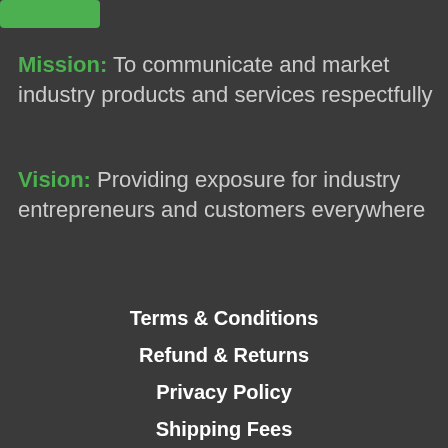[Figure (logo): Green logo box with icon at top left]
Mission: To communicate and market industry products and services respectfully
Vision: Providing exposure for industry entrepreneurs and customers everywhere
Terms & Conditions
Refund & Returns
Privacy Policy
Shipping Fees
Affiliate Login
Contact Us